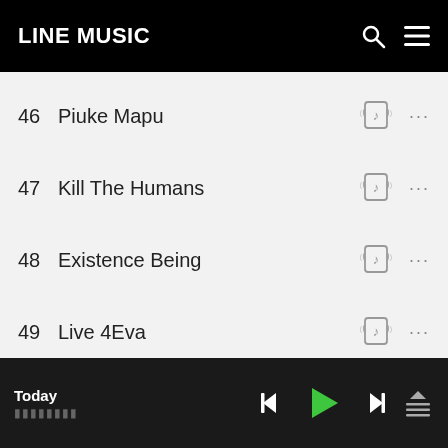LINE MUSIC
46  Piuke Mapu
47  Kill The Humans
48  Existence Being
49  Live 4Eva
50  Forever In Darkness
Today